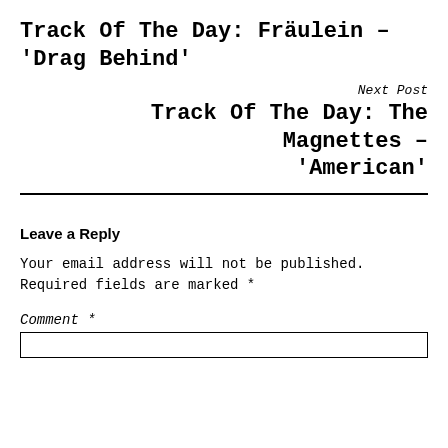Track Of The Day: Fräulein – 'Drag Behind'
Next Post
Track Of The Day: The Magnettes – 'American'
Leave a Reply
Your email address will not be published. Required fields are marked *
Comment *